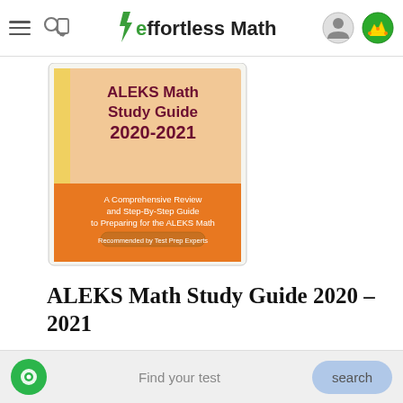Effortless Math
[Figure (illustration): Book cover of ALEKS Math Study Guide 2020-2021. Peach/cream background top half with dark red text 'ALEKS Math Study Guide 2020-2021'. Orange lower half with white text 'A Comprehensive Review and Step-By-Step Guide to Preparing for the ALEKS Math'. Badge reads 'Recommended by Test Prep Experts'.]
ALEKS Math Study Guide 2020 – 2021
A Comprehensive Review and Step-By-Step Guide to Preparing for the ALEKS Math